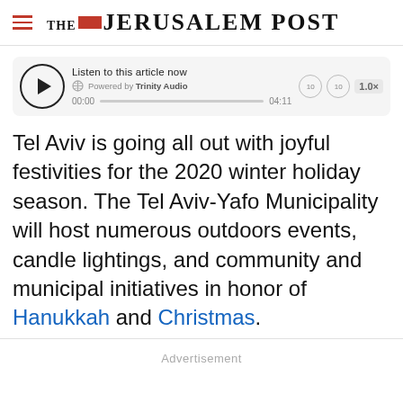THE JERUSALEM POST
[Figure (other): Audio player widget: play button, 'Listen to this article now', Powered by Trinity Audio, skip buttons, 1.0x speed, progress bar 00:00 to 04:11]
Tel Aviv is going all out with joyful festivities for the 2020 winter holiday season. The Tel Aviv-Yafo Municipality will host numerous outdoors events, candle lightings, and community and municipal initiatives in honor of Hanukkah and Christmas.
Advertisement